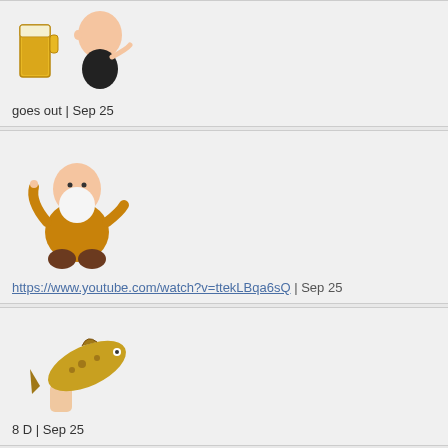[Figure (illustration): Beer mug and baby cartoon illustration]
goes out | Sep 25
[Figure (illustration): Cartoon gnome/dwarf in yellow outfit with beard]
https://www.youtube.com/watch?v=ttekLBqa6sQ | Sep 25
[Figure (illustration): Hand holding a fish (trout)]
8 D | Sep 25
[Figure (illustration): Beer mug and baby cartoon illustration]
http://youtu.be/XgbU_8Fxv6k?t=3m18s | Sep 25
[Figure (illustration): Beer mug and baby cartoon illustration (partial, bottom of page)]